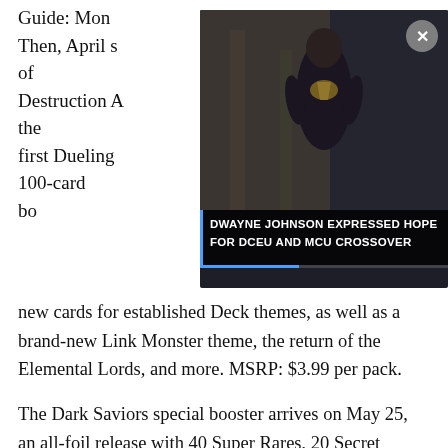Then, April s[…] Flames of Destruction A[…] close out the first Dueling[…]'s era. This 100-card bo[…] with new cards for established Deck themes, as well as a brand-new Link Monster theme, the return of the Elemental Lords, and more. MSRP: $3.99 per pack.
[Figure (screenshot): Video overlay showing a person (Dwayne Johnson) in a dark action movie setting with the caption 'DWAYNE JOHNSON EXPRESSED HOPE FOR DCEU AND MCU CROSSOVER'. A close button (X) is visible in the top right corner and a blue progress bar at the bottom.]
The Dark Saviors special booster arrives on May 25, an all-foil release with 40 Super Rares, 20 Secret Rares, and a legion of ancient evils so mighty they could fuel a thousand lifetimes of Dueling devastation. Making powerful combos with key cards from Structure Deck: Lair of Darkness, the Dark Saviors booster is presented in 5-card packs and offers new strategies that are sure to be a hit with Duelists. MSRP: $3.99 per pack.